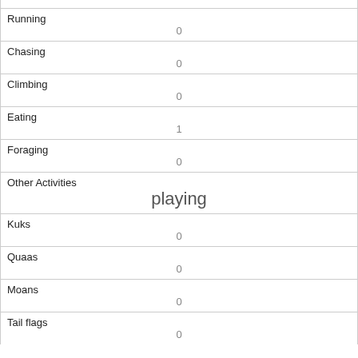| Running | 0 |
| Chasing | 0 |
| Climbing | 0 |
| Eating | 1 |
| Foraging | 0 |
| Other Activities | playing |
| Kuks | 0 |
| Quaas | 0 |
| Moans | 0 |
| Tail flags | 0 |